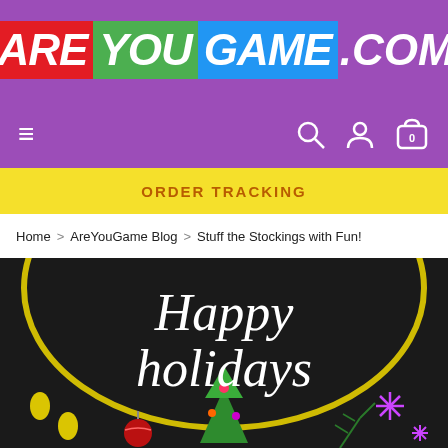[Figure (logo): AreYouGame.com logo on purple background with colored letter blocks: ARE in red, YOU in green, GAME in blue, .COM in white]
[Figure (screenshot): Navigation bar with hamburger menu on left, search icon, user icon, and shopping cart with 0 on right, on purple background]
ORDER TRACKING
Home > AreYouGame Blog > Stuff the Stockings with Fun!
[Figure (illustration): Happy Holidays decorative illustration on dark background with white cursive text, yellow lights/garland, Christmas tree, ornaments, and snowflakes]